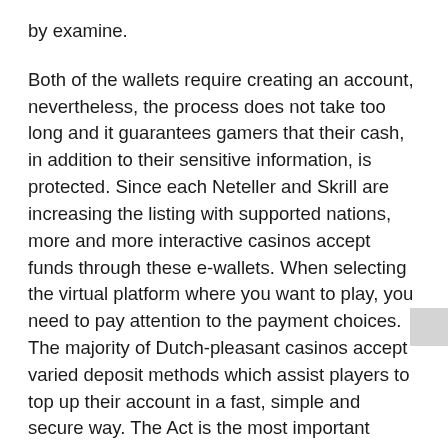by examine.
Both of the wallets require creating an account, nevertheless, the process does not take too long and it guarantees gamers that their cash, in addition to their sensitive information, is protected. Since each Neteller and Skrill are increasing the listing with supported nations, more and more interactive casinos accept funds through these e-wallets. When selecting the virtual platform where you want to play, you need to pay attention to the payment choices. The majority of Dutch-pleasant casinos accept varied deposit methods which assist players to top up their account in a fast, simple and secure way. The Act is the most important online gambling regulation that sets the situations for establishing distant or on-line gambling providers in the Netherlands. It comes as amendments to the Betting